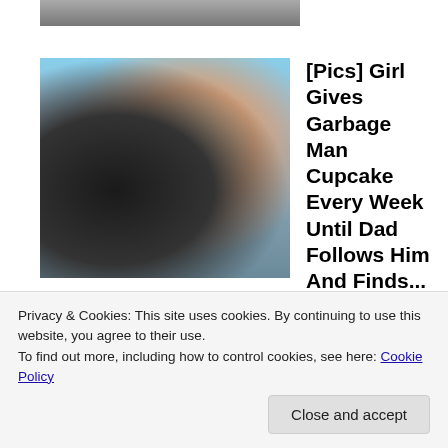[Figure (photo): Partial top image strip showing bottom edge of a photo, cropped]
[Figure (photo): Thumbnail photo of a man with sunglasses and a smiling toddler girl with a pink bow]
[Pics] Girl Gives Garbage Man Cupcake Every Week Until Dad Follows Him And Finds...
HealthyGem
[Figure (photo): Large cropped selfie photo of two people: a Black man wearing headphones and a white woman with brown hair smiling]
Privacy & Cookies: This site uses cookies. By continuing to use this website, you agree to their use.
To find out more, including how to control cookies, see here: Cookie Policy
Close and accept